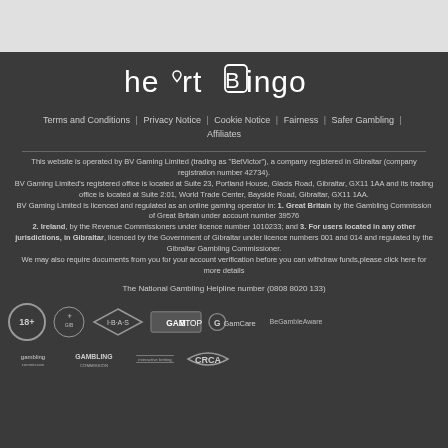[Figure (logo): Heart Bingo logo in white text on dark background]
Terms and Conditions | Privacy Notice | Cookie Notice | Fairness | Safer Gambling | Affiliates
This website is operated by BV Gaming Limited (trading as "BetVictor"), a company registered in Gibraltar (company registration number 42734). BV Gaming Limited's registered office is located at Suite 23, Portland House, Glacis Road, Gibraltar, GX11 1AA and its trading office is located at Suite 2:01, World Trade Center, Bayside Road, Gibraltar, GX11 1AA. BV Gaming Limited is licenced and regulated as an online gaming operator in: 1. Great Britain by the Gambling Commission of Great Britain under account number 39576 2. Ireland, by the Revenue Commissioners under licence number 1010233; and 3. For users located in any other jurisdictions, in Gibraltar, licenced by the Government of Gibraltar under licence numbers 001 and 014 and regulated by the Gibraltar Gambling Commissioner. We may also require documents from you for your account verification before you can withdraw funds,please click here for more details
The National Gambling Helpline number (0808 8020 133)
[Figure (logo): Row of regulatory logos: 18+, Gibraltar coat of arms, IBAS, GAMSTOP, GamCare, BeGambleAware]
[Figure (logo): Row of regulatory logos: gambling commission, GAMBLING, interactive betting, CRCA]